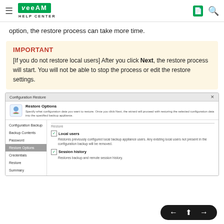Veeam Help Center
option, the restore process can take more time.
IMPORTANT
[If you do not restore local users] After you click Next, the restore process will start. You will not be able to stop the process or edit the restore settings.
[Figure (screenshot): Configuration Restore wizard showing Restore Options step with Local users and Session history checkboxes, left nav showing Configuration Backup, Backup Contents, Password, Restore Options (active), Credentials, Restore, Summary]